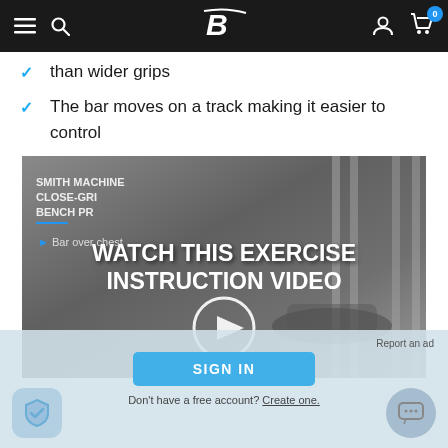Bodybuilding.com navigation bar
than wider grips
The bar moves on a track making it easier to control
[Figure (screenshot): Smith Machine Close-Grip Bench Press exercise instruction video thumbnail with play button and 'WATCH THIS EXERCISE INSTRUCTION VIDEO' overlay text, with a sign-in gate overlay at the bottom]
Report an ad
SIGN IN
Don't have a free account? Create one.